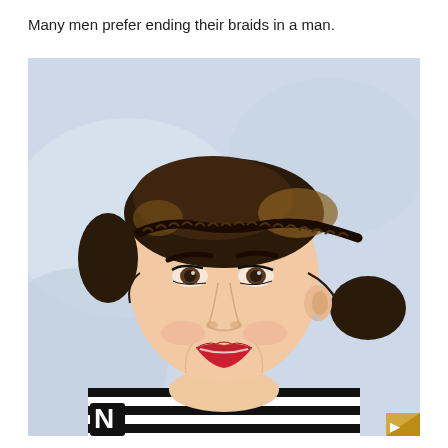Many men prefer ending their braids in a man.
[Figure (photo): A smiling young woman with dark hair styled in a braided updo with a bun at the back. She is wearing red lipstick, subtle eye makeup, and a black-and-white striped top. A blurred light-blue background is visible behind her. A yellow shape is partially visible in the background to her left.]